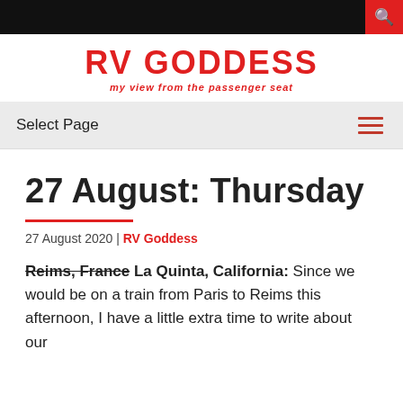RV GODDESS — my view from the passenger seat
27 August: Thursday
27 August 2020 | RV Goddess
Reims, France La Quinta, California: Since we would be on a train from Paris to Reims this afternoon, I have a little extra time to write about our